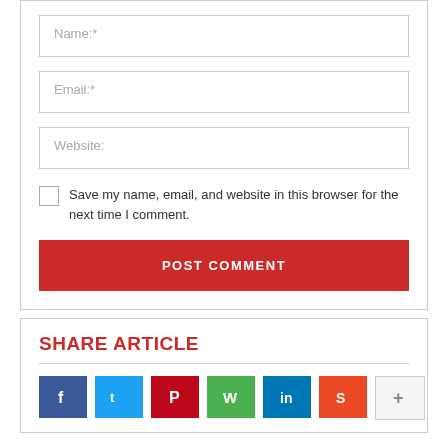Name:*
Email:*
Website:
Save my name, email, and website in this browser for the next time I comment.
POST COMMENT
SHARE ARTICLE
[Figure (infographic): Row of social share icon buttons: Facebook (blue), Twitter (light blue), Pinterest (red), WhatsApp (green), LinkedIn (dark blue), StumbleUpon (orange-red), and one more (light grey).]